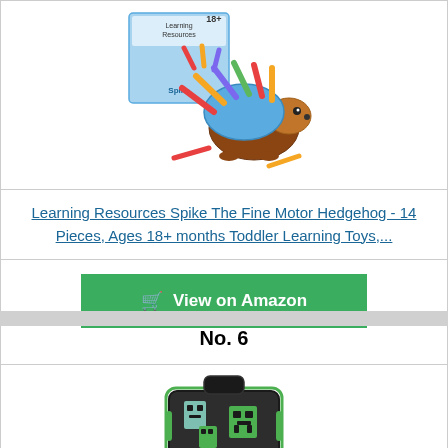[Figure (photo): Learning Resources Spike The Fine Motor Hedgehog toy product image showing the hedgehog toy with colorful spine pieces and product box]
Learning Resources Spike The Fine Motor Hedgehog - 14 Pieces, Ages 18+ months Toddler Learning Toys,...
[Figure (other): View on Amazon button with shopping cart icon]
No. 6
[Figure (photo): Minecraft characters backpack in black and green colors]